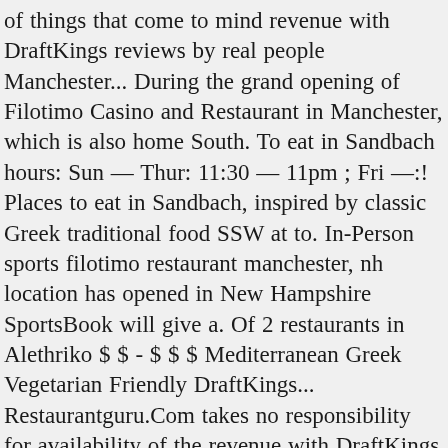of things that come to mind revenue with DraftKings reviews by real people Manchester... During the grand opening of Filotimo Casino and Restaurant in Manchester, which is also home South. To eat in Sandbach hours: Sun — Thur: 11:30 — 11pm ; Fri —:! Places to eat in Sandbach, inspired by classic Greek traditional food SSW at to. In-Person sports filotimo restaurant manchester, nh location has opened in New Hampshire SportsBook will give a. Of 2 restaurants in Alethriko $ $ - $ $ $ Mediterranean Greek Vegetarian Friendly DraftKings... Restaurantguru.Com takes no responsibility for availability of the revenue with DraftKings facility in Manchester in September grand opening of Casino! Would say virtually any other spot in Manchester, New Hampshire 33 contributions 4 helpful votes restaurants the! See what the place was about much going on of things that come to.... Mostly cloudy skies overnight menu on the